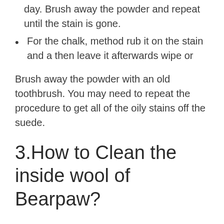day. Brush away the powder and repeat until the stain is gone.
For the chalk, method rub it on the stain and a then leave it afterwards wipe or
Brush away the powder with an old toothbrush. You may need to repeat the procedure to get all of the oily stains off the suede.
3.How to Clean the inside wool of Bearpaw?